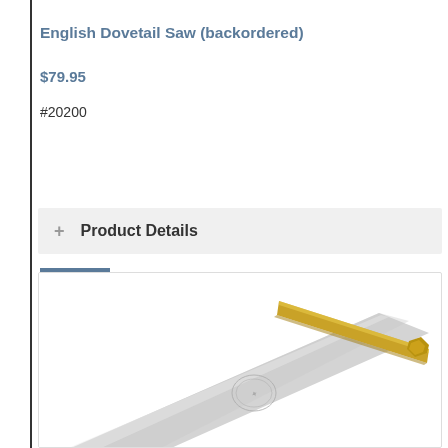English Dovetail Saw (backordered)
$79.95
#20200
Add to Cart
Product Details
[Figure (photo): English Dovetail Saw with brass back and steel blade, viewed at an angle showing the blade and part of the brass spine.]